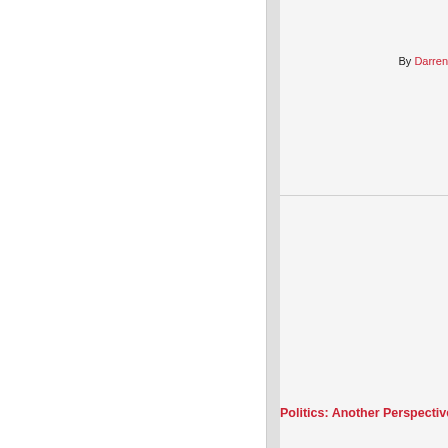By Darren
Politics: Another Perspective: